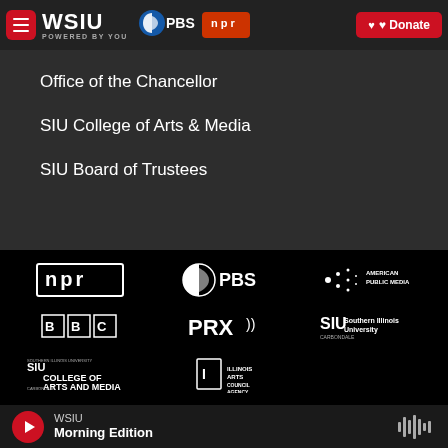[Figure (screenshot): WSIU website header bar with hamburger menu, WSIU Powered By You logo, PBS and NPR badges, and red Donate button]
Office of the Chancellor
SIU College of Arts & Media
SIU Board of Trustees
[Figure (logo): Logos section: NPR, PBS, American Public Media, BBC, PRX, SIU Southern Illinois University Carbondale, SIU College of Arts and Media, Illinois Arts Council Agency]
WSIU Morning Edition — player bar